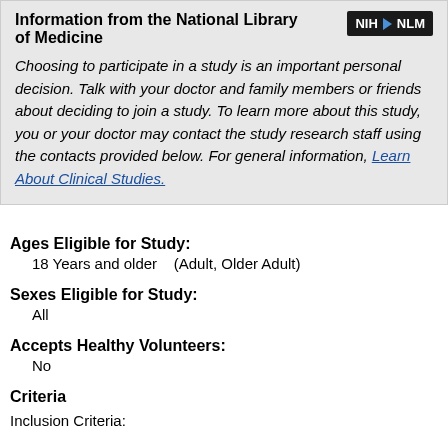Information from the National Library of Medicine
Choosing to participate in a study is an important personal decision. Talk with your doctor and family members or friends about deciding to join a study. To learn more about this study, you or your doctor may contact the study research staff using the contacts provided below. For general information, Learn About Clinical Studies.
Ages Eligible for Study:
18 Years and older   (Adult, Older Adult)
Sexes Eligible for Study:
All
Accepts Healthy Volunteers:
No
Criteria
Inclusion Criteria: